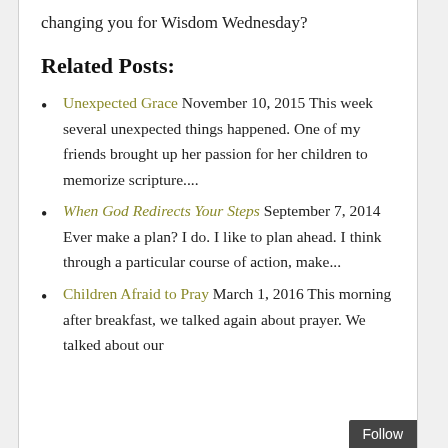changing you for Wisdom Wednesday?
Related Posts:
Unexpected Grace November 10, 2015 This week several unexpected things happened. One of my friends brought up her passion for her children to memorize scripture....
When God Redirects Your Steps September 7, 2014 Ever make a plan? I do. I like to plan ahead. I think through a particular course of action, make...
Children Afraid to Pray March 1, 2016 This morning after breakfast, we talked again about prayer. We talked about our